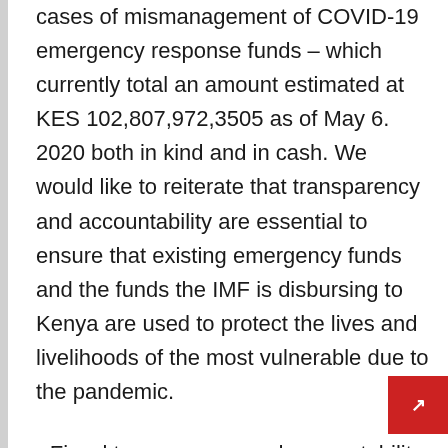cases of mismanagement of COVID-19 emergency response funds – which currently total an amount estimated at KES 102,807,972,3505 as of May 6. 2020 both in kind and in cash. We would like to reiterate that transparency and accountability are essential to ensure that existing emergency funds and the funds the IMF is disbursing to Kenya are used to protect the lives and livelihoods of the most vulnerable due to the pandemic.
• Fiscal transparency and accountability. We call on the government to manage current and future COVID19 emergency response funds from other sources, including the World Bank and the IMF (Rapid Credit Facility) with ruthless accountability, transparency and strong public